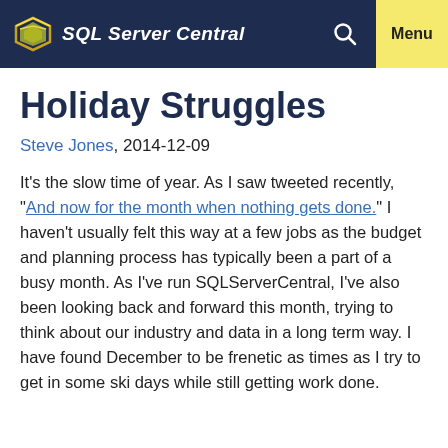SQL Server Central  Menu
Holiday Struggles
Steve Jones, 2014-12-09
It's the slow time of year. As I saw tweeted recently, "And now for the month when nothing gets done." I haven't usually felt this way at a few jobs as the budget and planning process has typically been a part of a busy month. As I've run SQLServerCentral, I've also been looking back and forward this month, trying to think about our industry and data in a long term way. I have found December to be frenetic as times as I try to get in some ski days while still getting work done.